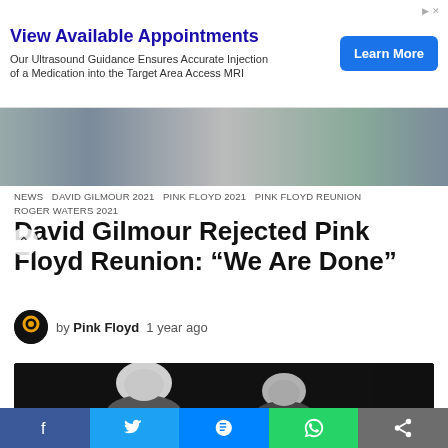[Figure (screenshot): Advertisement banner: 'View Available Appointments' with 'Learn More' button. Text: Our Ultrasound Guidance Ensures Accurate Injection of a Medication into the Target Area Access MRI]
[Figure (photo): Partial image of people, partially visible at the top of the article content area, with view count 319 and share count 2]
NEWS  DAVID GILMOUR 2021  PINK FLOYD 2021  PINK FLOYD REUNION  ROGER WATERS 2021
David Gilmour Rejected Pink Floyd Reunion: “We Are Done”
by Pink Floyd 1 year ago
[Figure (photo): Black and white photograph of two older men (Roger Waters and David Gilmour) facing each other, smiling, against a dark background. A yellow circle is partially visible in the bottom right corner.]
Facebook  Twitter  Messenger  WhatsApp  Share